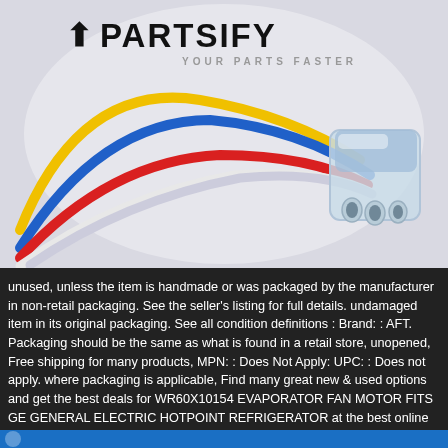[Figure (photo): Partsify logo at top with stylized arrow and text 'PARTSIFY - YOUR PARTS FASTER', above a product photo of a multi-wire electrical connector (yellow, blue, red, white wires with a translucent plastic multi-pin connector) on a light gray/white background.]
unused, unless the item is handmade or was packaged by the manufacturer in non-retail packaging. See the seller's listing for full details. undamaged item in its original packaging. See all condition definitions : Brand: : AFT. Packaging should be the same as what is found in a retail store, unopened, Free shipping for many products, MPN: : Does Not Apply: UPC: : Does not apply. where packaging is applicable, Find many great new & used options and get the best deals for WR60X10154 EVAPORATOR FAN MOTOR FITS GE GENERAL ELECTRIC HOTPOINT REFRIGERATOR at the best online prices at. Condition:: New: A brand-new, such as an unprinted box or plastic bag.